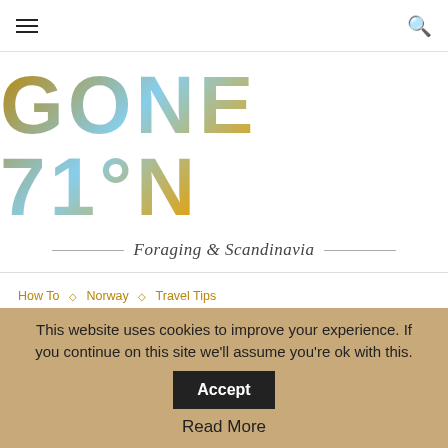Navigation bar with hamburger menu and search icon
[Figure (logo): GONE 71°N logo with photo-filled large text showing nature/sky imagery inside the letterforms]
Foraging & Scandinavia
How To ◇ Norway ◇ Travel Tips
ENCOUNTER WHALES AND DOLPHINES IN NORWAY (ON
This website uses cookies to improve your experience. If you continue on this site we'll assume you're ok with this.
Accept
Read More